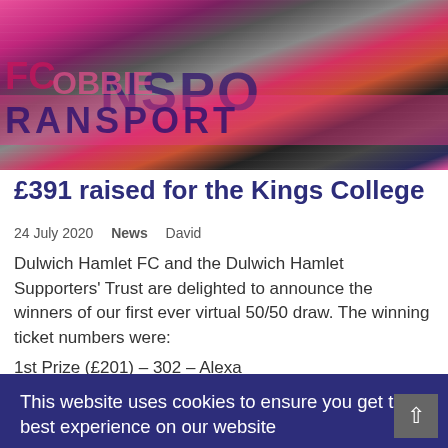[Figure (photo): Sports photo showing Dulwich Hamlet FC players and fans with pink and purple banners at a football event]
£391 raised for the Kings College
24 July 2020  News  David
Dulwich Hamlet FC and the Dulwich Hamlet Supporters' Trust are delighted to announce the winners of our first ever virtual 50/50 draw. The winning ticket numbers were:
1st Prize (£201) – 302 – Alexa
This website uses cookies to ensure you get the best experience on our website
Learn more
Got it!